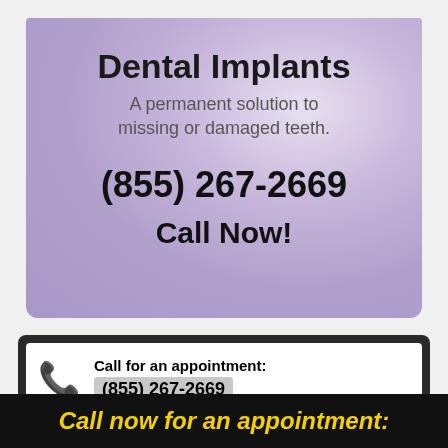[Figure (illustration): Dental implants advertisement with purple gradient background, showing title 'Dental Implants', subtitle 'A permanent solution to missing or damaged teeth.', phone number (855) 267-2669, and 'Call Now!' text]
Call for an appointment: (855) 267-2669
Make an Appointment
Call now for an appointment: